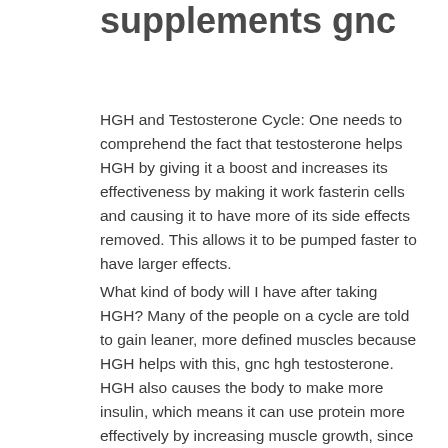supplements gnc
HGH and Testosterone Cycle: One needs to comprehend the fact that testosterone helps HGH by giving it a boost and increases its effectiveness by making it work fasterin cells and causing it to have more of its side effects removed. This allows it to be pumped faster to have larger effects.
What kind of body will I have after taking HGH? Many of the people on a cycle are told to gain leaner, more defined muscles because HGH helps with this, gnc hgh testosterone. HGH also causes the body to make more insulin, which means it can use protein more effectively by increasing muscle growth, since it increases muscle mass, human growth hormone tablets. What kind of body will you have after HGH...